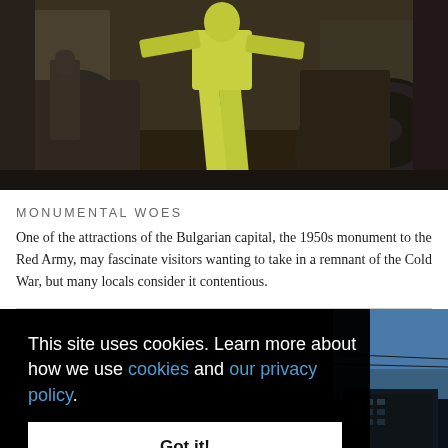[Figure (photo): A 1950s Soviet-era monument to the Red Army in Sofia, Bulgaria. Bronze military figures are visible, with one figure painted in bright yellow/lime green paint, standing prominently in the center. A wheel/vehicle is visible on the right side of the monument.]
MONUMENTAL WOES
One of the attractions of the Bulgarian capital, the 1950s monument to the Red Army, may fascinate visitors wanting to take in a remnant of the Cold War, but many locals consider it contentious.
[Figure (photo): Partial view of a dark urban/building scene on the right side, with a blue sky visible and dark building structures below.]
This site uses cookies. Learn more about how we use cookies and our privacy policy.
Got it!